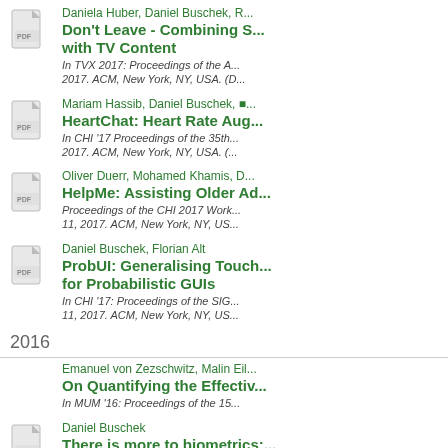Daniela Huber, Daniel Buschek, R... | Don't Leave - Combining S... with TV Content | In TVX 2017: Proceedings of the A... 2017. ACM, New York, NY, USA. (D...
Mariam Hassib, Daniel Buschek, ... | HeartChat: Heart Rate Aug... | In CHI '17 Proceedings of the 35th... 2017. ACM, New York, NY, USA. (...
Oliver Duerr, Mohamed Khamis, D... | HelpMe: Assisting Older Ad... | Proceedings of the CHI 2017 Work... 11, 2017. ACM, New York, NY, US...
Daniel Buschek, Florian Alt | ProbUI: Generalising Touch... for Probabilistic GUIs | In CHI '17: Proceedings of the SIG... 11, 2017. ACM, New York, NY, US...
2016
Emanuel von Zezschwitz, Malin Eil... | On Quantifying the Effectiv... | In MUM '16: Proceedings of the 15...
Daniel Buschek | There is more to biometrics:... representative | It - Information Technology, July 20...
Florian Alt, ..., ...